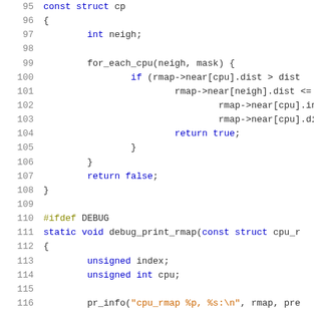[Figure (screenshot): Source code viewer showing C code lines 95-116 with syntax highlighting. Line numbers in gray on the left, keywords in blue, string literals in orange/brown, preprocessor directives in olive/yellow.]